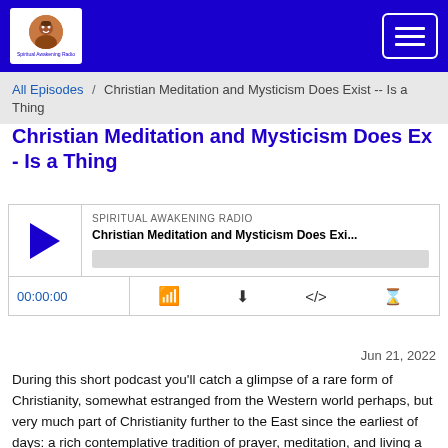Spiritual Awakening Radio — navigation bar with logo and hamburger menu
All Episodes / Christian Meditation and Mysticism Does Exist -- Is a Thing
Christian Meditation and Mysticism Does Exist - Is a Thing
[Figure (other): Podcast audio player widget with play button, show name 'SPIRITUAL AWAKENING RADIO', episode title 'Christian Meditation and Mysticism Does Exi...', progress bar, time display '00:00:00', and control icons for RSS, download, embed, and share]
Jun 21, 2022
During this short podcast you'll catch a glimpse of a rare form of Christianity, somewhat estranged from the Western world perhaps, but very much part of Christianity further to the East since the earliest of days: a rich contemplative tradition of prayer, meditation, and living a spiritual way of life "practicing the presence of God", as Brother Lawrence of the Resurrection once described it. Meditation in the Hebrew